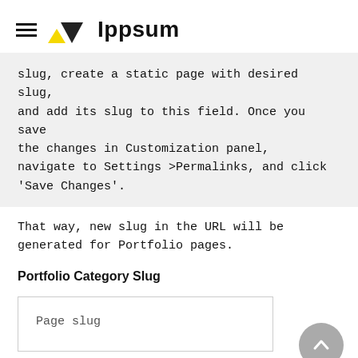Ippsum
slug, create a static page with desired slug, and add its slug to this field. Once you save the changes in Customization panel, navigate to Settings >Permalinks, and click 'Save Changes'.
That way, new slug in the URL will be generated for Portfolio pages.
Portfolio Category Slug
Page slug